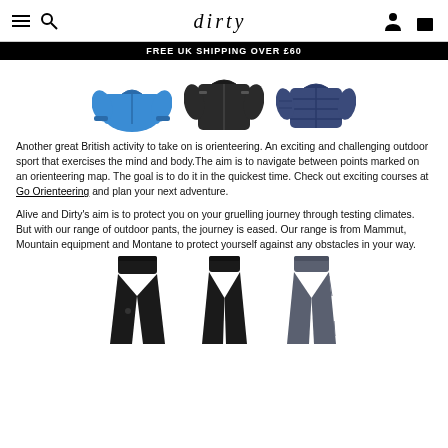dirty — FREE UK SHIPPING OVER £60
[Figure (photo): Three outdoor jackets: blue jacket, dark grey/black jacket, navy puffer jacket]
Another great British activity to take on is orienteering. An exciting and challenging outdoor sport that exercises the mind and body.The aim is to navigate between points marked on an orienteering map. The goal is to do it in the quickest time. Check out exciting courses at Go Orienteering and plan your next adventure.
Alive and Dirty's aim is to protect you on your gruelling journey through testing climates. But with our range of outdoor pants, the journey is eased. Our range is from Mammut, Mountain equipment and Montane to protect yourself against any obstacles in your way.
[Figure (photo): Three pairs of outdoor pants: black pants, black slim pants, grey pants]